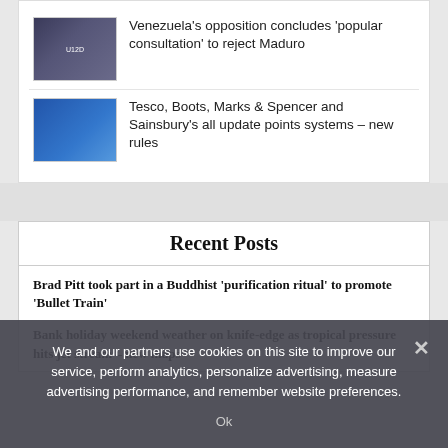Venezuela's opposition concludes 'popular consultation' to reject Maduro
Tesco, Boots, Marks & Spencer and Sainsbury's all update points systems – new rules
Recent Posts
Brad Pitt took part in a Buddhist 'purification ritual' to promote 'Bullet Train'
Bank holiday weekend weather on knife-edge as tropical pressure hits jet stream – new maps
We and our partners use cookies on this site to improve our service, perform analytics, personalize advertising, measure advertising performance, and remember website preferences.
Ok